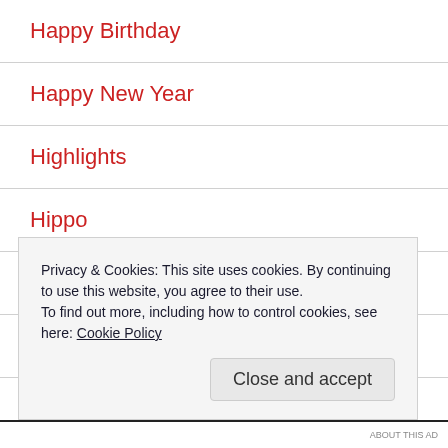Happy Birthday
Happy New Year
Highlights
Hippo
Homeowners
I pledge to shop small
Illustration
Privacy & Cookies: This site uses cookies. By continuing to use this website, you agree to their use.
To find out more, including how to control cookies, see here: Cookie Policy
ABOUT THIS AD